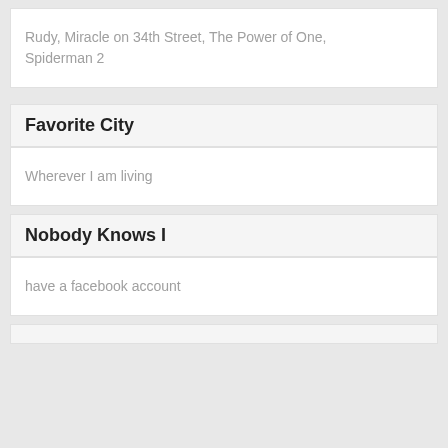Rudy, Miracle on 34th Street, The Power of One, Spiderman 2
Favorite City
Wherever I am living
Nobody Knows I
have a facebook account